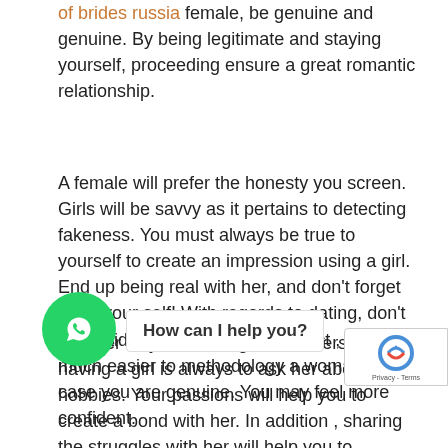of brides russia female, be genuine and genuine. By being legitimate and staying yourself, proceeding ensure a great romantic relationship.
A female will prefer the honesty you screen. Girls will be savvy as it pertains to detecting fakeness. You must always be true to yourself to create an impression using a girl. End up being real with her, and don't forget to be your self! With regards to dating, don't be afraid for being yourself. In fact , it can be much easier to methodology a woman in case you are genuine. You may feel more confident.
Another way to start a great conversation having a girl is always to ask her about her hobbies. Your passions will help you to create a bond with her. In addition , sharing the struggles with her will help you to establish a strong psychological connection with. This is an extremely common method to build a relationship. Simply by telling her the struggles and expressing your feelings, she will be much more open to you.